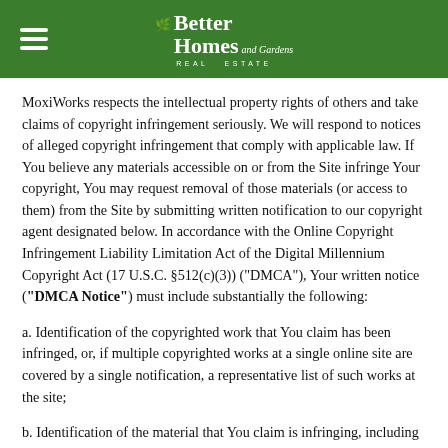Better Homes and Gardens Real Estate
MoxiWorks respects the intellectual property rights of others and take claims of copyright infringement seriously. We will respond to notices of alleged copyright infringement that comply with applicable law. If You believe any materials accessible on or from the Site infringe Your copyright, You may request removal of those materials (or access to them) from the Site by submitting written notification to our copyright agent designated below. In accordance with the Online Copyright Infringement Liability Limitation Act of the Digital Millennium Copyright Act (17 U.S.C. §512(c)(3)) ("DMCA"), Your written notice ("DMCA Notice") must include substantially the following:
a. Identification of the copyrighted work that You claim has been infringed, or, if multiple copyrighted works at a single online site are covered by a single notification, a representative list of such works at the site;
b. Identification of the material that You claim is infringing, including a description of where it is located so that our copyright agent can